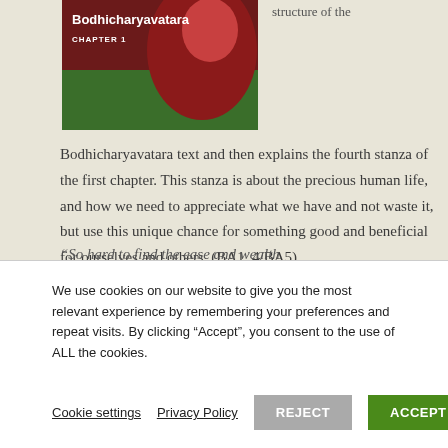[Figure (photo): Book cover image showing 'Bodhicharyavatara CHAPTER 1' title with a figure in red robes against a green background]
structure of the
Bodhicharyavatara text and then explains the fourth stanza of the first chapter. This stanza is about the precious human life, and how we need to appreciate what we have and not waste it, but use this unique chance for something good and beneficial for ourselves and others. (BA1_4/BA5).
“So hard to find the ease and wealth
We use cookies on our website to give you the most relevant experience by remembering your preferences and repeat visits. By clicking “Accept”, you consent to the use of ALL the cookies.
Cookie settings
Privacy Policy
REJECT
ACCEPT